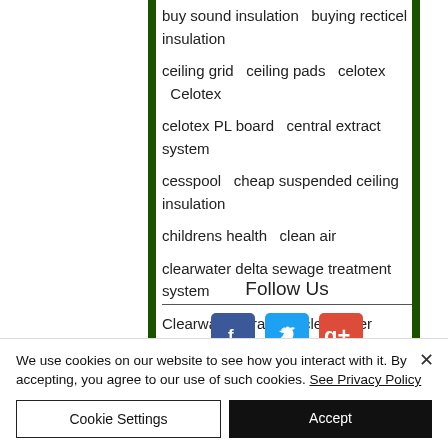buy sound insulation   buying recticel insulation
ceiling grid   ceiling pads   celotex   Celotex
celotex PL board   central extract system
cesspool   cheap suspended ceiling insulation
childrens health   clean air
clearwater delta sewage treatment system
Clearwater e-range   clearwater septic tank
conservation roof window
Follow Us
[Figure (illustration): Social media icons: Facebook (blue), Twitter (cyan), Google+ (red/orange)]
We use cookies on our website to see how you interact with it. By accepting, you agree to our use of such cookies. See Privacy Policy
Cookie Settings   Accept